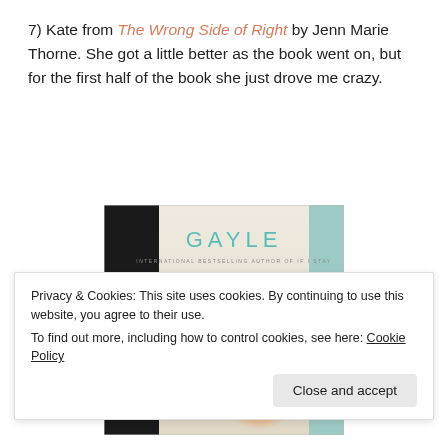7) Kate from The Wrong Side of Right by Jenn Marie Thorne. She got a little better as the book went on, but for the first half of the book she just drove me crazy.
[Figure (illustration): Book cover of 'Just One Day' by Gayle Forman. Teal/turquoise text on a light beige background with two silhouetted figures (one dark, one backlit with warm orange glow) standing in an urban setting. Dark building on the left side of the cover.]
Privacy & Cookies: This site uses cookies. By continuing to use this website, you agree to their use.
To find out more, including how to control cookies, see here: Cookie Policy
Close and accept